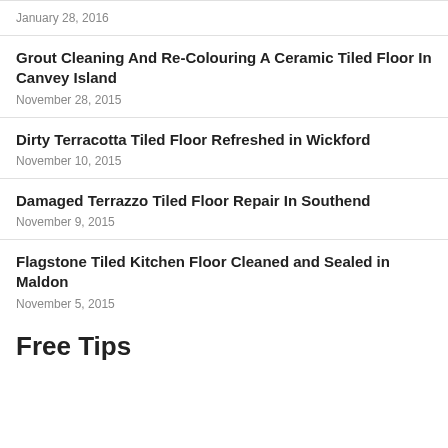January 28, 2016
Grout Cleaning And Re-Colouring A Ceramic Tiled Floor In Canvey Island
November 28, 2015
Dirty Terracotta Tiled Floor Refreshed in Wickford
November 10, 2015
Damaged Terrazzo Tiled Floor Repair In Southend
November 9, 2015
Flagstone Tiled Kitchen Floor Cleaned and Sealed in Maldon
November 5, 2015
Free Tips
[Figure (other): Green gradient banner with text 'Free Tile, Stone and Grout Maintenance']
[Figure (other): Green button with upward arrow icon]